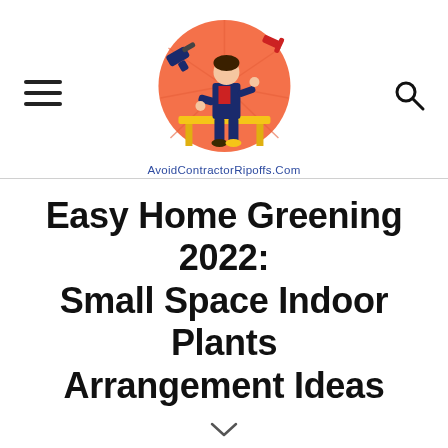[Figure (logo): AvoidContractorRipoffs.Com website logo: illustrated worker in orange circle with tools, with website name below]
Easy Home Greening 2022: Small Space Indoor Plants Arrangement Ideas